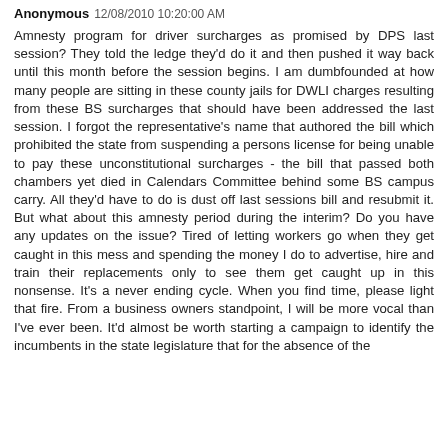Anonymous 12/08/2010 10:20:00 AM
Amnesty program for driver surcharges as promised by DPS last session? They told the ledge they'd do it and then pushed it way back until this month before the session begins. I am dumbfounded at how many people are sitting in these county jails for DWLI charges resulting from these BS surcharges that should have been addressed the last session. I forgot the representative's name that authored the bill which prohibited the state from suspending a persons license for being unable to pay these unconstitutional surcharges - the bill that passed both chambers yet died in Calendars Committee behind some BS campus carry. All they'd have to do is dust off last sessions bill and resubmit it. But what about this amnesty period during the interim? Do you have any updates on the issue? Tired of letting workers go when they get caught in this mess and spending the money I do to advertise, hire and train their replacements only to see them get caught up in this nonsense. It's a never ending cycle. When you find time, please light that fire. From a business owners standpoint, I will be more vocal than I've ever been. It'd almost be worth starting a campaign to identify the incumbents in the state legislature that for the absence...